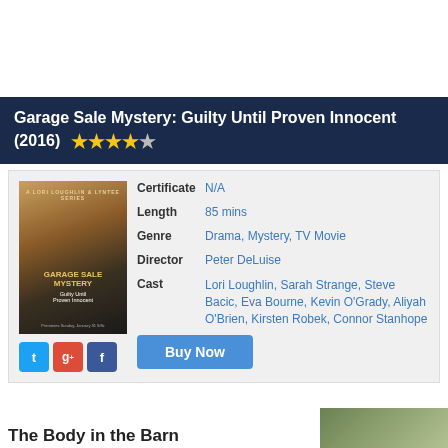Garage Sale Mystery: Guilty Until Proven Innocent (2016) ★★★★☆
[Figure (photo): Movie poster for Garage Sale Mystery: Guilty Until Proven Innocent showing a woman in a brown jacket with the Garage Sale Mystery title text]
| Field | Value |
| --- | --- |
| Certificate | N/A |
| Length | 85 mins |
| Genre | Drama, Mystery, TV Movie |
| Director | Peter DeLuise |
| Cast | Lori Loughlin, Sarah Strange, Steve Bacic, Eva Bourne, Kevin O'Grady, Aliyah O'Brien, Kirsten Robek, Connor Stanhope |
Buy Now
The Body in the Barn